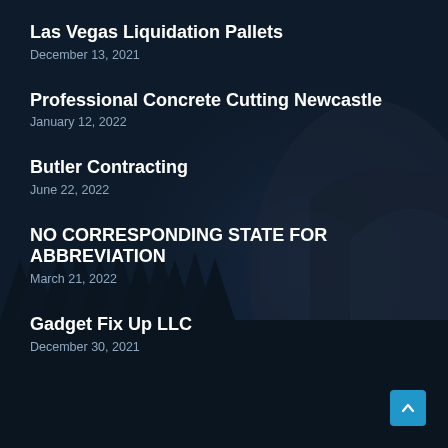Las Vegas Liquidation Pallets
December 13, 2021
Professional Concrete Cutting Newcastle
January 12, 2022
Butler Contracting
June 22, 2022
NO CORRESPONDING STATE FOR ABBREVIATION
March 21, 2022
Gadget Fix Up LLC
December 30, 2021